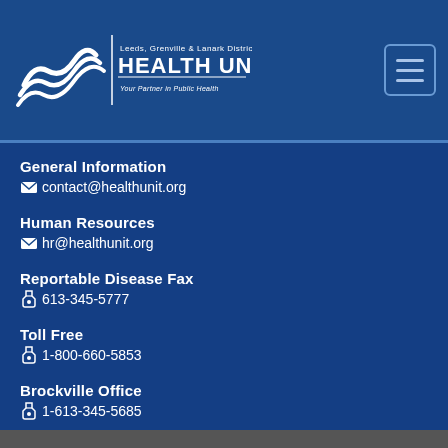[Figure (logo): Leeds, Grenville & Lanark District Health Unit logo — white swoosh/waves with text 'HEALTH UNIT' and tagline 'Your Partner in Public Health']
[Figure (other): Hamburger menu icon — three horizontal lines in a rounded rectangle border]
Contact Us
General Information
contact@healthunit.org
Human Resources
hr@healthunit.org
Reportable Disease Fax
613-345-5777
Toll Free
1-800-660-5853
Brockville Office
1-613-345-5685